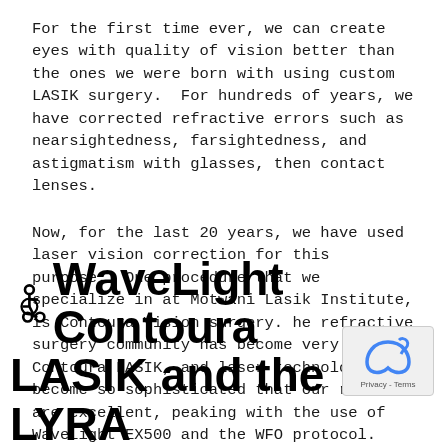For the first time ever, we can create eyes with quality of vision better than the ones we were born with using custom LASIK surgery.  For hundreds of years, we have corrected refractive errors such as nearsightedness, farsightedness, and astigmatism with glasses, then contact lenses.
Now, for the last 20 years, we have used laser vision correction for this purpose.  One procedure that we specialize in at Motwani Lasik Institute, is Contoura Vision surgery. he refractive surgery community has become very good at Contoura LASIK, and laser technology has become so sophisticated that our results are excellent, peaking with the use of WaveLight EX500 and the WFO protocol.
WaveLight Contoura LASIK and the LYRA